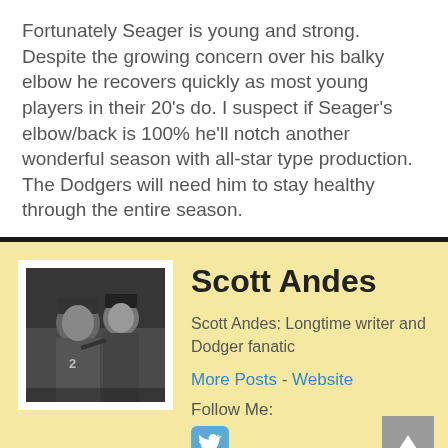Fortunately Seager is young and strong. Despite the growing concern over his balky elbow he recovers quickly as most young players in their 20's do. I suspect if Seager's elbow/back is 100% he'll notch another wonderful season with all-star type production. The Dodgers will need him to stay healthy through the entire season.
[Figure (photo): Black and white photo of a baseball manager and umpire, author bio photo for Scott Andes]
Scott Andes
Scott Andes: Longtime writer and Dodger fanatic
More Posts - Website
Follow Me: